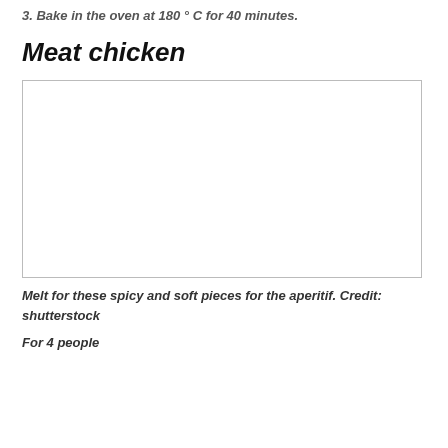3. Bake in the oven at 180 ° C for 40 minutes.
Meat chicken
[Figure (photo): Empty white photo placeholder box with thin border representing a meat chicken dish photo]
Melt for these spicy and soft pieces for the aperitif. Credit: shutterstock
For 4 people